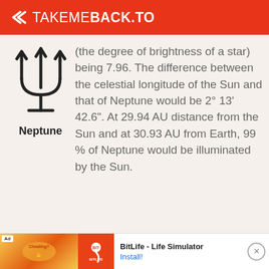TAKEMEBACK.TO
[Figure (illustration): Neptune astronomical symbol (trident with cross) and label 'Neptune' below it]
(the degree of brightness of a star) being 7.96. The difference between the celestial longitude of the Sun and that of Neptune would be 2° 13' 42.6". At 29.94 AU distance from the Sun and at 30.93 AU from Earth, 99 % of Neptune would be illuminated by the Sun.
[Figure (screenshot): Ad banner: BitLife - Life Simulator app advertisement with Install button]